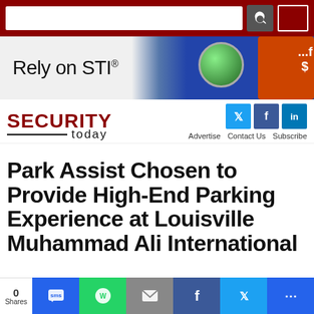[Figure (screenshot): Website navigation bar with dark red background, search input box, search icon button, and a logo square]
[Figure (photo): Advertisement banner for STI with text 'Rely on STI®' and image of colored strobe lights/alarms]
[Figure (logo): Security Today website logo with SECURITY in dark red bold uppercase letters, 'today' in black below, with social media icons (Twitter, Facebook, LinkedIn) and navigation links (Advertise, Contact Us, Subscribe)]
Park Assist Chosen to Provide High-End Parking Experience at Louisville Muhammad Ali International
[Figure (screenshot): Social share bar at the bottom showing 0 shares, and share buttons for SMS, WhatsApp, Email, Facebook, Twitter, and more]